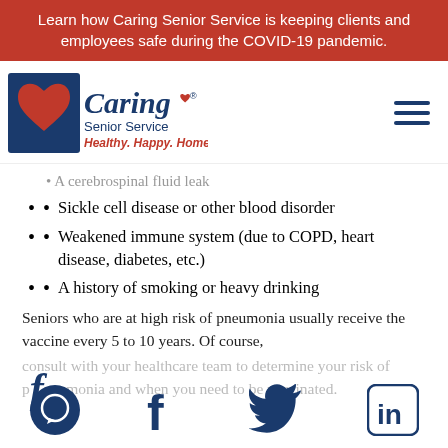Learn how Caring Senior Service is keeping clients and employees safe during the COVID-19 pandemic.
[Figure (logo): Caring Senior Service logo with red heart and blue square, tagline: Healthy. Happy. Home.]
A cerebrospinal fluid leak (partially visible, faded)
Sickle cell disease or other blood disorder
Weakened immune system (due to COPD, heart disease, diabetes, etc.)
A history of smoking or heavy drinking
Seniors who are at high risk of pneumonia usually receive the vaccine every 5 to 10 years. Of course,
consult with your healthcare team to determine your risk of pneumonia and when you need to be vaccinated.
[Figure (infographic): Social media icons: circle chat, Facebook, Twitter/bird, LinkedIn]